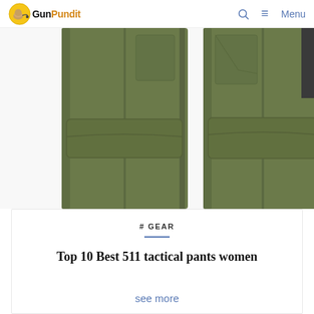GunPundit — Menu
[Figure (photo): Two views of olive green tactical pants legs shown side by side on a white background]
# GEAR
Top 10 Best 511 tactical pants women
see more